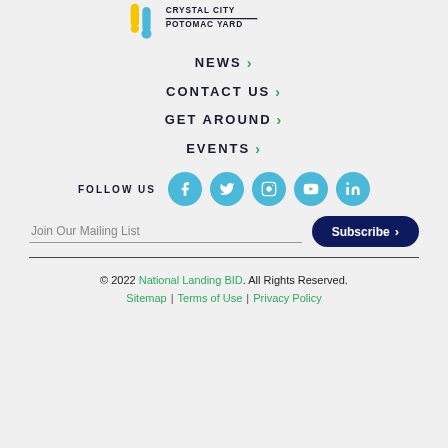[Figure (logo): Crystal City Potomac Yard logo with colored pencil/pin icons and text]
NEWS >
CONTACT US >
GET AROUND >
EVENTS >
FOLLOW US [Facebook] [Twitter] [Instagram] [YouTube] [LinkedIn]
Join Our Mailing List  Subscribe >
© 2022 National Landing BID. All Rights Reserved.
Sitemap | Terms of Use | Privacy Policy